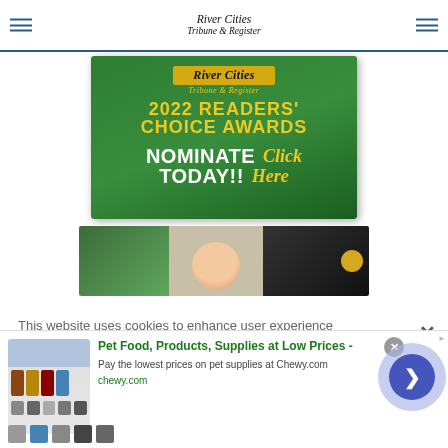River Cities Tribune & Register
[Figure (illustration): 2022 Readers' Choice Awards banner for River Cities Tribune & Register with 'Nominate Today! Click Here' call to action on green background]
[Figure (photo): Child in dentist chair smiling with gloved hands visible]
This website uses cookies to enhance user experience to analyze performance and traffic on our website.
[Figure (logo): Infolinks badge logo]
[Figure (other): Pet Food, Products, Supplies at Low Prices - Chewy.com advertisement with product images and navigation arrow]